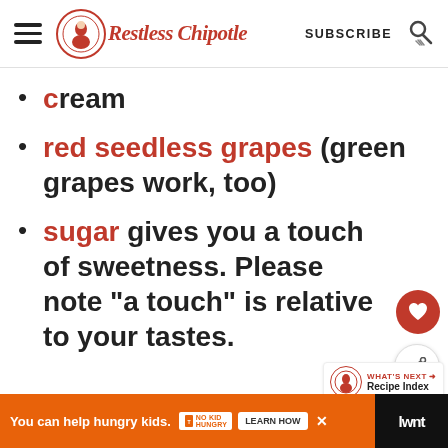Restless Chipotle | SUBSCRIBE
cream
red seedless grapes (green grapes work, too)
sugar gives you a touch of sweetness. Please note "a touch" is relative to your tastes.
You can help hungry kids. NO KID HUNGRY LEARN HOW